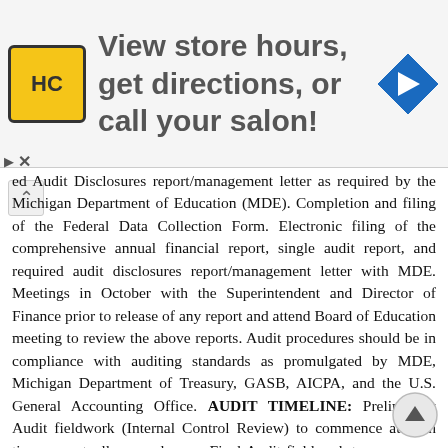[Figure (screenshot): Advertisement banner showing HC logo, text 'View store hours, get directions, or call your salon!' and a blue navigation diamond icon]
ed Audit Disclosures report/management letter as required by the Michigan Department of Education (MDE). Completion and filing of the Federal Data Collection Form. Electronic filing of the comprehensive annual financial report, single audit report, and required audit disclosures report/management letter with MDE. Meetings in October with the Superintendent and Director of Finance prior to release of any report and attend Board of Education meeting to review the above reports. Audit procedures should be in compliance with auditing standards as promulgated by MDE, Michigan Department of Treasury, GASB, AICPA, and the U.S. General Accounting Office. AUDIT TIMELINE: Preliminary Audit fieldwork (Internal Control Review) to commence at such time as mutually agreed upon. Final Audit fieldwork to commence in July and/or August 2014, 2015 and 2016 at such time as mutually agreed upon. Audit documents to be delivered to the District by October 15th of each year in order to meet